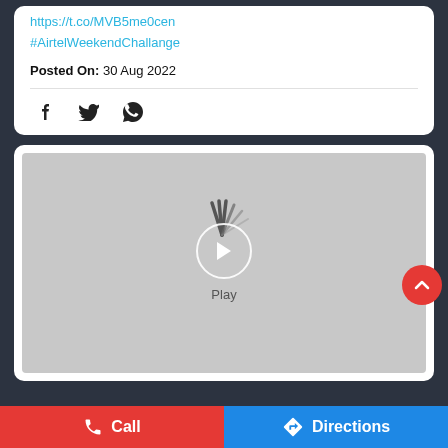https://t.co/MVB5me0cen
#AirtelWeekendChallange
Posted On: 30 Aug 2022
[Figure (screenshot): Video player with loading spinner and play button, labeled 'Play']
Call
Directions